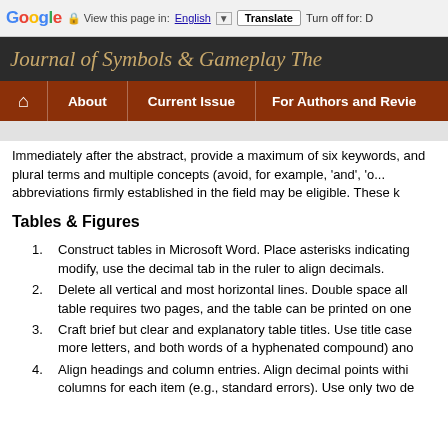Google  View this page in: English [▼]  Translate  Turn off for: D
[Figure (screenshot): Journal of Symbols & Gameplay Theory website header banner with dark background and gold italic title text]
[Figure (screenshot): Navigation bar with brown/rust background showing: home icon, About, Current Issue, For Authors and Revie...]
Immediately after the abstract, provide a maximum of six keywords, and plural terms and multiple concepts (avoid, for example, 'and', 'o... abbreviations firmly established in the field may be eligible. These k
Tables & Figures
Construct tables in Microsoft Word. Place asterisks indicating modify, use the decimal tab in the ruler to align decimals.
Delete all vertical and most horizontal lines. Double space all table requires two pages, and the table can be printed on one
Craft brief but clear and explanatory table titles. Use title case more letters, and both words of a hyphenated compound) ano
Align headings and column entries. Align decimal points within columns for each item (e.g., standard errors). Use only two de